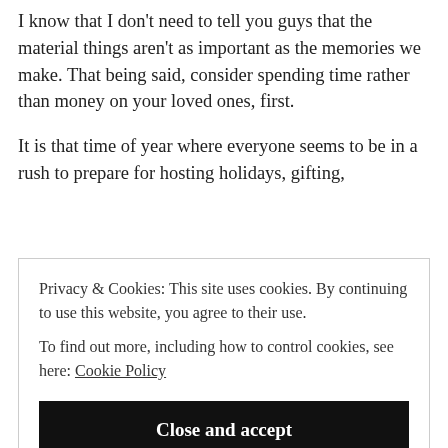I know that I don't need to tell you guys that the material things aren't as important as the memories we make. That being said, consider spending time rather than money on your loved ones, first.
It is that time of year where everyone seems to be in a rush to prepare for hosting holidays, gifting,
Privacy & Cookies: This site uses cookies. By continuing to use this website, you agree to their use.
To find out more, including how to control cookies, see here: Cookie Policy
[Close and accept]
movie night, a cookie decorating competition is